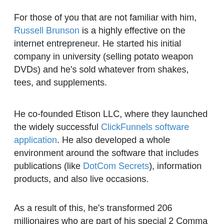For those of you that are not familiar with him, Russell Brunson is a highly effective on the internet entrepreneur. He started his initial company in university (selling potato weapon DVDs) and he's sold whatever from shakes, tees, and supplements.
He co-founded Etison LLC, where they launched the widely successful ClickFunnels software application. He also developed a whole environment around the software that includes publications (like DotCom Secrets), information products, and also live occasions.
As a result of this, he's transformed 206 millionaires who are part of his special 2 Comma